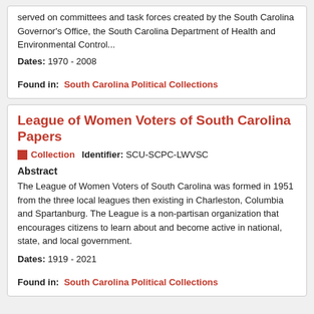served on committees and task forces created by the South Carolina Governor's Office, the South Carolina Department of Health and Environmental Control...
Dates: 1970 - 2008
Found in: South Carolina Political Collections
League of Women Voters of South Carolina Papers
Collection   Identifier: SCU-SCPC-LWVSC
Abstract
The League of Women Voters of South Carolina was formed in 1951 from the three local leagues then existing in Charleston, Columbia and Spartanburg. The League is a non-partisan organization that encourages citizens to learn about and become active in national, state, and local government.
Dates: 1919 - 2021
Found in: South Carolina Political Collections